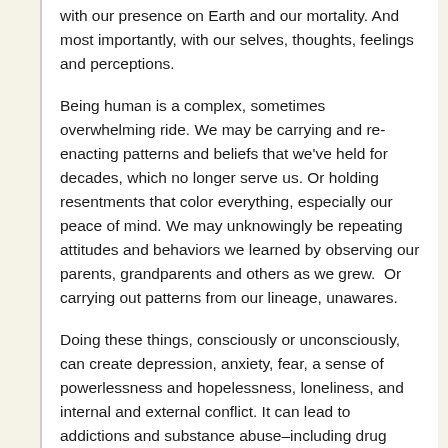with our presence on Earth and our mortality. And most importantly, with our selves, thoughts, feelings and perceptions.
Being human is a complex, sometimes overwhelming ride. We may be carrying and re-enacting patterns and beliefs that we've held for decades, which no longer serve us. Or holding resentments that color everything, especially our peace of mind. We may unknowingly be repeating attitudes and behaviors we learned by observing our parents, grandparents and others as we grew.  Or carrying out patterns from our lineage, unawares.
Doing these things, consciously or unconsciously, can create depression, anxiety, fear, a sense of powerlessness and hopelessness, loneliness, and internal and external conflict. It can lead to addictions and substance abuse–including drug addiction and alcoholism–eating disorders–including anorexia, bulimia and compulsive eating–and undermine our sense of well-being, ease and empowerment in the world.